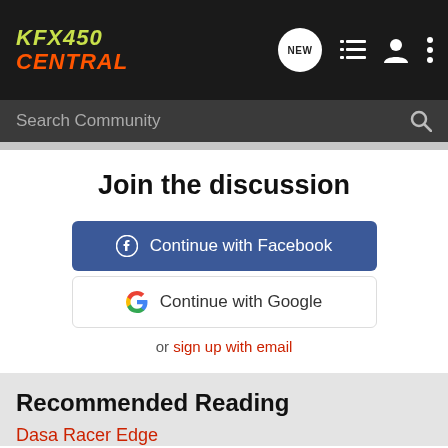KFX450 CENTRAL
Search Community
Join the discussion
Continue with Facebook
Continue with Google
or sign up with email
Recommended Reading
Dasa Racer Edge